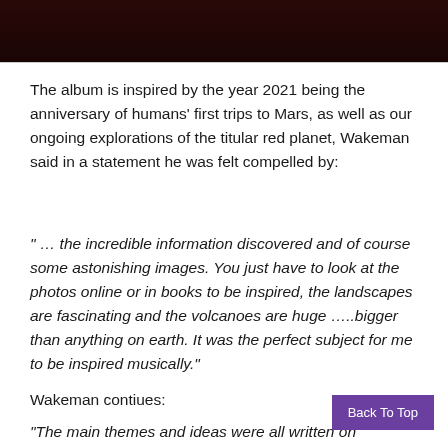[Figure (photo): Dark reddish-brown image strip at the top of the page, appears to be a cropped album or promotional photo with dark tones]
The album is inspired by the year 2021 being the anniversary of humans' first trips to Mars, as well as our ongoing explorations of the titular red planet, Wakeman said in a statement he was felt compelled by:
" … the incredible information discovered and of course some astonishing images. You just have to look at the photos online or in books to be inspired, the landscapes are fascinating and the volcanoes are huge …..bigger than anything on earth. It was the perfect subject for me to be inspired musically."
Wakeman contiues:
"The main themes and ideas were all written on